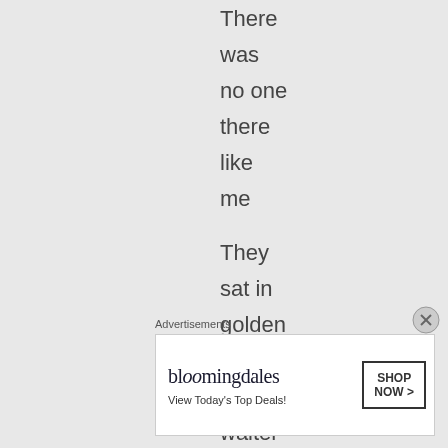There
was
no one
there
like
me

They
sat in
golden
circles
And
waiters
Advertisements
[Figure (other): Bloomingdale's advertisement banner with logo, 'View Today's Top Deals!' and 'SHOP NOW >' button, featuring a woman in a wide-brim hat]